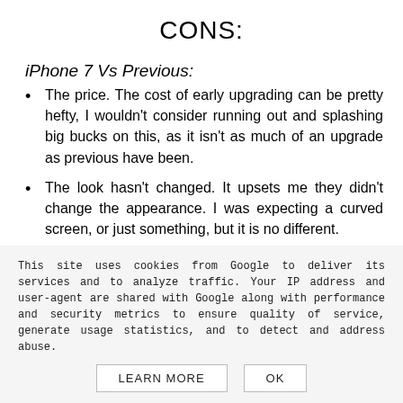CONS:
iPhone 7 Vs Previous:
The price. The cost of early upgrading can be pretty hefty, I wouldn't consider running out and splashing big bucks on this, as it isn't as much of an upgrade as previous have been.
The look hasn't changed. It upsets me they didn't change the appearance. I was expecting a curved screen, or just something, but it is no different.
Not enough of a change. It just seems like they haven't put much more into the 7 vs the 6, it just feels
This site uses cookies from Google to deliver its services and to analyze traffic. Your IP address and user-agent are shared with Google along with performance and security metrics to ensure quality of service, generate usage statistics, and to detect and address abuse.
LEARN MORE   OK